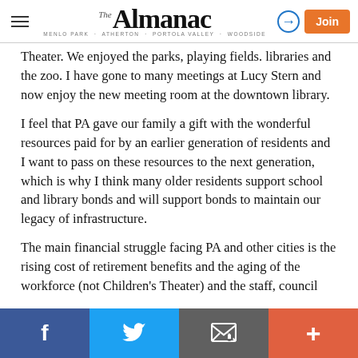The Almanac — MENLO PARK · ATHERTON · PORTOLA VALLEY · WOODSIDE
Theater. We enjoyed the parks, playing fields. libraries and the zoo. I have gone to many meetings at Lucy Stern and now enjoy the new meeting room at the downtown library.
I feel that PA gave our family a gift with the wonderful resources paid for by an earlier generation of residents and I want to pass on these resources to the next generation, which is why I think many older residents support school and library bonds and will support bonds to maintain our legacy of infrastructure.
The main financial struggle facing PA and other cities is the rising cost of retirement benefits and the aging of the workforce (not Children's Theater) and the staff, council
Social share bar: Facebook, Twitter, Email, Plus